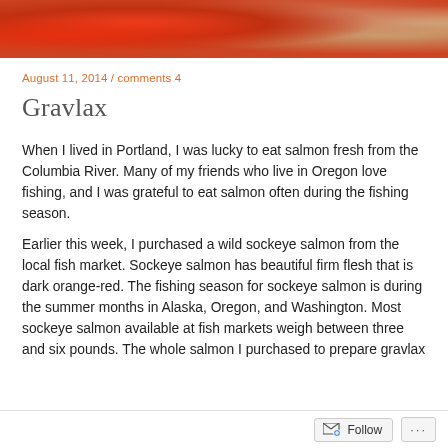[Figure (photo): Close-up photo of food — salmon gravlax on dark bread with red tomato or pepper, orange-red colors]
August 11, 2014 / comments 4
Gravlax
When I lived in Portland, I was lucky to eat salmon fresh from the Columbia River. Many of my friends who live in Oregon love fishing, and I was grateful to eat salmon often during the fishing season.
Earlier this week, I purchased a wild sockeye salmon from the local fish market. Sockeye salmon has beautiful firm flesh that is dark orange-red. The fishing season for sockeye salmon is during the summer months in Alaska, Oregon, and Washington. Most sockeye salmon available at fish markets weigh between three and six pounds. The whole salmon I purchased to prepare gravlax
Follow ...